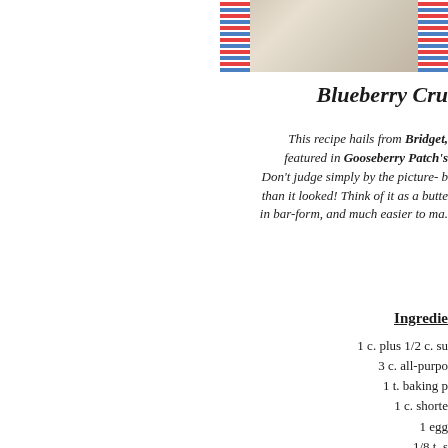[Figure (photo): Partial photo of a decorated item with colorful pattern borders visible on left and right edges, light beige/cream center]
Blueberry Cru
This recipe hails from Bridget, featured in Gooseberry Patch's ... Don't judge simply by the picture- b... than it looked! Think of it as a butte... in bar-form, and much easier to ma...
Ingredie
1 c. plus 1/2 c. su
3 c. all-purpo
1 t. baking p
1 c. shorte
1 egg
1/8 t. s
1/8 t. cinn
4 c. blueb
3 t. corn